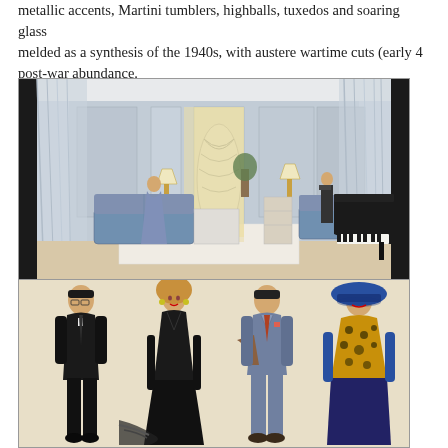metallic accents, Martini tumblers, highballs, tuxedos and soaring glass melded as a synthesis of the 1940s, with austere wartime cuts (early 4... post-war abundance.
[Figure (illustration): Two stacked illustrations: top image shows an elegant 1940s-style interior room with high ceilings, tall windows with flowing curtains, blue sofas, a grand piano on the right, a spiral staircase in the background, floor lamps, and a woman in a blue gown. Bottom image shows four fashion illustration figures: two men in dark and grey suits and two women in evening wear including a black gown and leopard print fur stole with blue hat.]